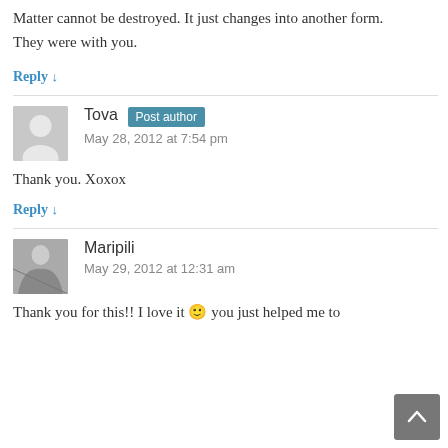Matter cannot be destroyed. It just changes into another form.
They were with you.
Reply ↓
Tova  Post author
May 28, 2012 at 7:54 pm
Thank you. Xoxox
Reply ↓
Maripili
May 29, 2012 at 12:31 am
Thank you for this!! I love it 🙂 you just helped me to